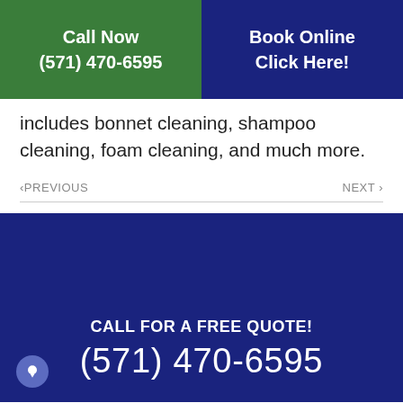Call Now (571) 470-6595
Book Online Click Here!
includes bonnet cleaning, shampoo cleaning, foam cleaning, and much more.
< PREVIOUS    NEXT >
CALL FOR A FREE QUOTE!
(571) 470-6595